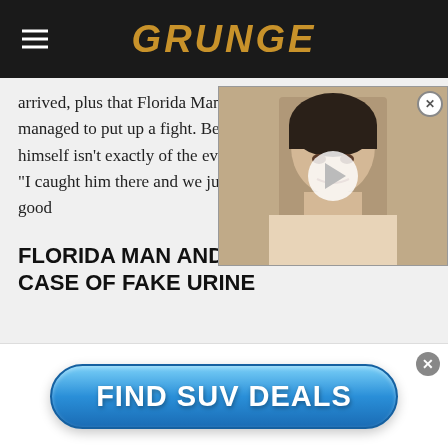GRUNGE
arrived, plus that Florida Man managed to put up a fight. Beckham himself isn't exactly of the events is: "I caught him there and we just had a good
[Figure (photo): Video thumbnail showing a woman with short dark hair, with a play button overlay and close button]
FLORIDA MAN AND THE CURIOUS CASE OF FAKE URINE
[Figure (infographic): Advertisement button: FIND SUV DEALS with blue gradient rounded rectangle button style]